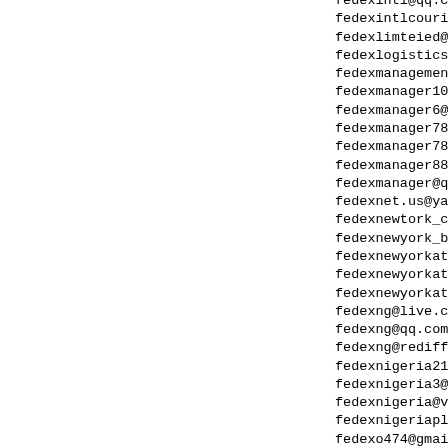fedexintl@qq.com
fedexintlcourierservi...
fedexlimteied@hotmail...
fedexlogistics999@gma...
fedexmanagement@outlo...
fedexmanager101@yahoo...
fedexmanager6@gmail.c...
fedexmanager783@gmail...
fedexmanager784@gmail...
fedexmanager884@gmail...
fedexmanager@qq.com
fedexnet.us@yahoo.com
fedexnewtork_card@saf...
fedexnewyork_brian_ph...
fedexnewyorkatmcard11...
fedexnewyorkatmcard11...
fedexnewyorkatmcard10@...
fedexng@live.com
fedexng@qq.com
fedexng@rediffmail.co...
fedexnigeria216@gmail...
fedexnigeria3@gmail.c...
fedexnigeria@vomoto.c...
fedexnigeriaplc3@gmai...
fedexo474@gmail.com
fedexoffic1976@yahoo....
fedexoffice063@gmail....
fedexoffice245@gmail....
fedexoffice252@gmail....
fedexoffice464@yahoo...